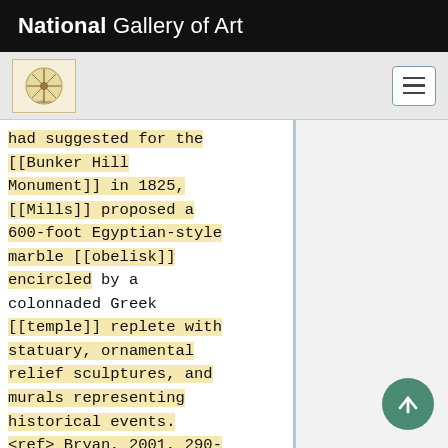National Gallery of Art
had suggested for the [[Bunker Hill Monument]] in 1825, [[Mills]] proposed a 600-foot Egyptian-style marble [[obelisk]] encircled by a colonnaded Greek [[temple]] replete with statuary, ornamental relief sculptures, and murals representing historical events. <ref> Bryan, 2001, 290-291, [https://www.zotero.org/groups/54737/items/ite